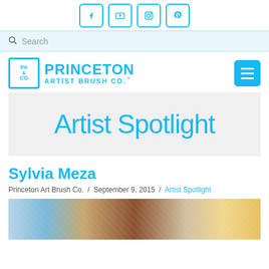Social media icons: Facebook, YouTube, Instagram, Pinterest
Search
[Figure (logo): Princeton Artist Brush Co. logo with stylized PA&Co emblem and hamburger menu button]
Artist Spotlight
Sylvia Meza
Princeton Art Brush Co. / September 9, 2015 / Artist Spotlight
[Figure (photo): Partial view of an artwork with colorful painting supplies and artwork visible]